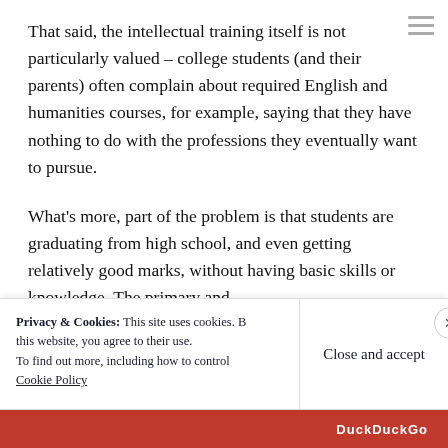That said, the intellectual training itself is not particularly valued – college students (and their parents) often complain about required English and humanities courses, for example, saying that they have nothing to do with the professions they eventually want to pursue.
What's more, part of the problem is that students are graduating from high school, and even getting relatively good marks, without having basic skills or knowledge. The primary and
Privacy & Cookies: This site uses cookies. By continuing to use this website, you agree to their use. To find out more, including how to control cookies, see here: Cookie Policy
Close and accept